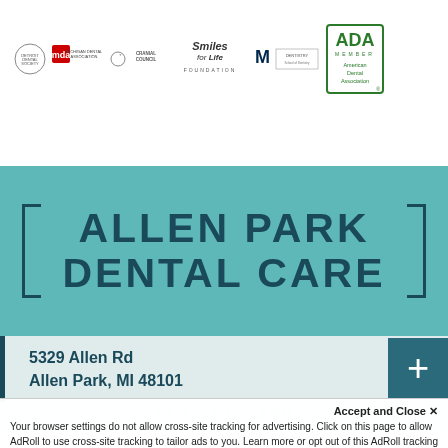[Figure (logo): Row of organization logos: Detroit Dental Society, Michigan Dental Association, Cranial Council, Smiles for Life Foundation, University of Michigan Dentistry, ADA Member American Dental Association]
ALLEN PARK DENTAL CARE
5329 Allen Rd
Allen Park, MI 48101
313-261-6499
Accept and Close ✕
Your browser settings do not allow cross-site tracking for advertising. Click on this page to allow AdRoll to use cross-site tracking to tailor ads to you. Learn more or opt out of this AdRoll tracking by clicking here. This message only appears once.